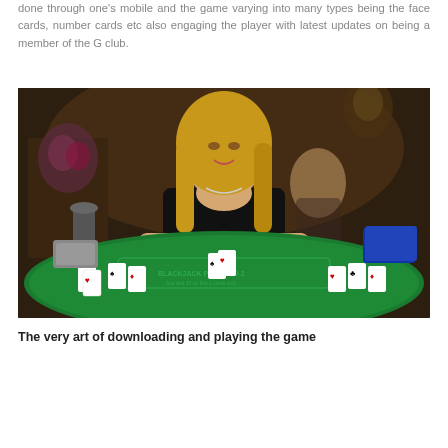done through one's mobile and the game varying into many types being the face cards, number cards etc also engaging the player with latest updates on being a member of the G club.
[Figure (photo): A female casino dealer in a black dress standing behind a blackjack table with cards and chips, with another woman visible in the background in a dimly lit casino setting.]
The very art of downloading and playing the game